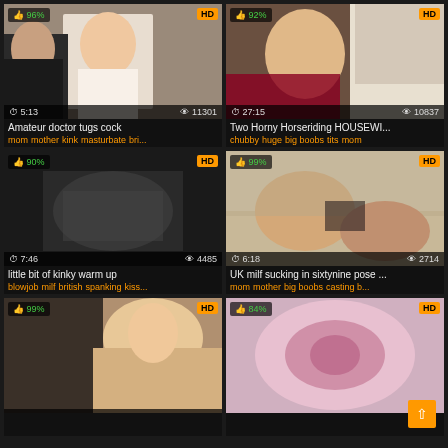[Figure (screenshot): Video thumbnail grid showing 6 adult video thumbnails with titles, tags, ratings, view counts and duration]
Amateur doctor tugs cock
mom mother kink masturbate bri...
Two Horny Horseriding HOUSEWI...
chubby huge big boobs tits mom
little bit of kinky warm up
blowjob milf british spanking kiss...
UK milf sucking in sixtynine pose ...
mom mother big boobs casting b...